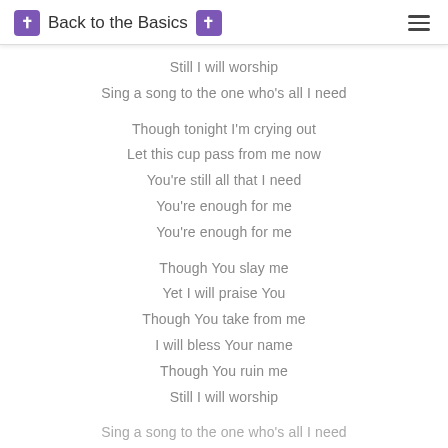✝ Back to the Basics ✝
Still I will worship
Sing a song to the one who's all I need

Though tonight I'm crying out
Let this cup pass from me now
You're still all that I need
You're enough for me
You're enough for me

Though You slay me
Yet I will praise You
Though You take from me
I will bless Your name
Though You ruin me
Still I will worship